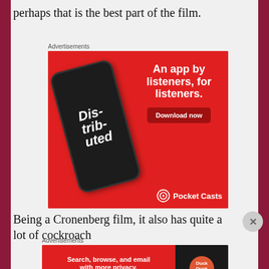perhaps that is the best part of the film.
Advertisements
[Figure (other): Pocket Casts advertisement banner showing a smartphone with the Distributed podcast, with text 'An app by listeners, for listeners.' and a 'Download now' button on red background with Pocket Casts logo.]
Being a Cronenberg film, it also has quite a lot of cockroach
Advertisements
[Figure (other): DuckDuckGo advertisement banner with text 'Search, browse, and email with more privacy. All in One Free App' on red background with DuckDuckGo logo on dark right panel.]